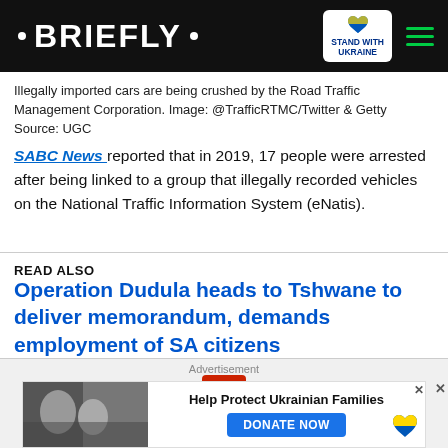· BRIEFLY ·
Illegally imported cars are being crushed by the Road Traffic Management Corporation. Image: @TrafficRTMC/Twitter & Getty
Source: UGC
SABC News reported that in 2019, 17 people were arrested after being linked to a group that illegally recorded vehicles on the National Traffic Information System (eNatis).
READ ALSO
Operation Dudula heads to Tshwane to deliver memorandum, demands employment of SA citizens
[Figure (screenshot): Advertisement banner: Help Protect Ukrainian Families - DONATE NOW button with Ukrainian heart logo and a photo of people]